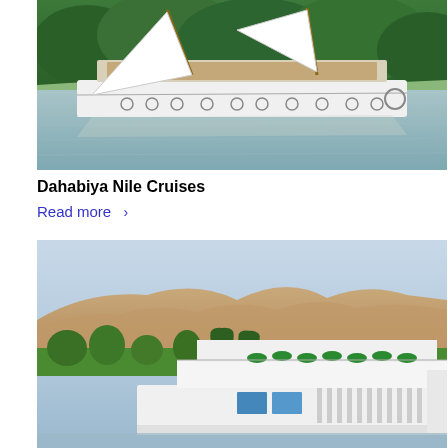[Figure (photo): A white dahabiya sailing boat with two large triangular sails on the Nile River, with green trees in the background and calm water reflections.]
Dahabiya Nile Cruises
Read more >
[Figure (photo): A large white Nile cruise ship docked or sailing near Luxor, with desert cliffs/mountains in the background, palm trees, green vegetation, and blue sky. The ship has green umbrellas on the upper deck.]